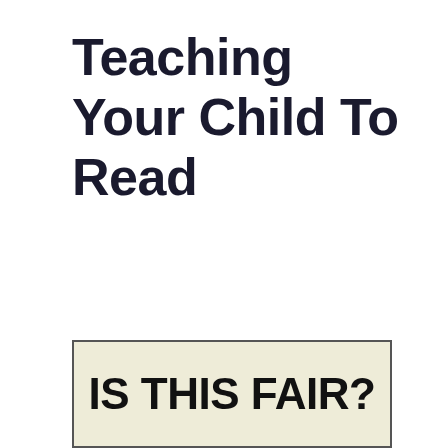Teaching Your Child To Read
[Figure (other): A box with beige/cream background containing bold black text reading 'IS THIS FAIR?']